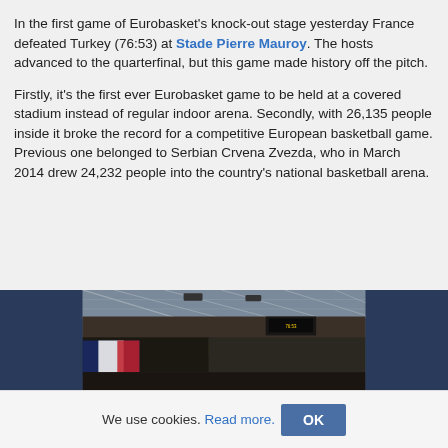In the first game of Eurobasket's knock-out stage yesterday France defeated Turkey (76:53) at Stade Pierre Mauroy. The hosts advanced to the quarterfinal, but this game made history off the pitch.
Firstly, it's the first ever Eurobasket game to be held at a covered stadium instead of regular indoor arena. Secondly, with 26,135 people inside it broke the record for a competitive European basketball game. Previous one belonged to Serbian Crvena Zvezda, who in March 2014 drew 24,232 people into the country's national basketball arena.
[Figure (photo): Wide-angle photo of a packed indoor stadium (Stade Pierre Mauroy) during a basketball game, showing tens of thousands of spectators filling the stands, with a large French flag visible in the lower left foreground, steel roof structure visible overhead.]
We use cookies. Read more. OK